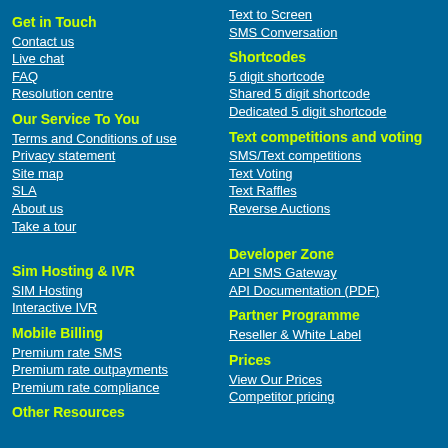Get in Touch
Contact us
Live chat
FAQ
Resolution centre
Our Service To You
Terms and Conditions of use
Privacy statement
Site map
SLA
About us
Take a tour
Sim Hosting & IVR
SIM Hosting
Interactive IVR
Mobile Billing
Premium rate SMS
Premium rate outpayments
Premium rate compliance
Other Resources
Text to Screen
SMS Conversation
Shortcodes
5 digit shortcode
Shared 5 digit shortcode
Dedicated 5 digit shortcode
Text competitions and voting
SMS/Text competitions
Text Voting
Text Raffles
Reverse Auctions
Developer Zone
API SMS Gateway
API Documentation (PDF)
Partner Programme
Reseller & White Label
Prices
View Our Prices
Competitor pricing